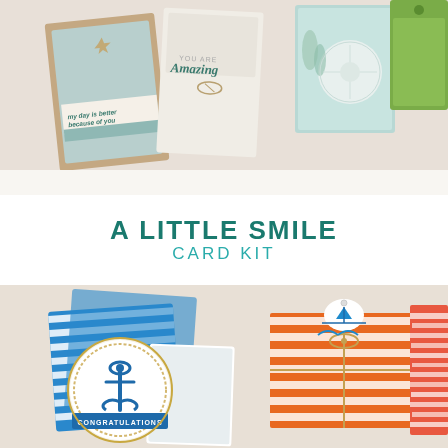[Figure (photo): Top photo showing handmade greeting cards with coastal/beach theme - cards with text 'my day is better because of you', 'YOU ARE Amazing', and cards with sea/plant motifs in teal, mint, green and kraft colors on a light background]
A LITTLE SMILE
CARD KIT
[Figure (photo): Bottom photo showing nautical-themed craft items: blue and white striped cards with anchor 'CONGRATULATIONS' medallion, orange and white striped gift box tied with twine and a sailboat tag, and coral/orange striped paper on a beige background]